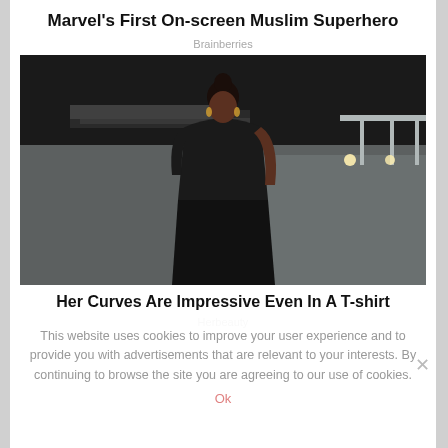Marvel's First On-screen Muslim Superhero
Brainberries
[Figure (photo): Woman wearing black crop top and skirt, posing outdoors at night in front of a concrete building with lighting]
Her Curves Are Impressive Even In A T-shirt
Herbeauty
This website uses cookies to improve your user experience and to provide you with advertisements that are relevant to your interests. By continuing to browse the site you are agreeing to our use of cookies.
Ok